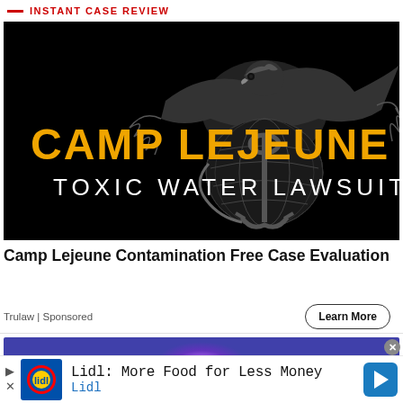INSTANT CASE REVIEW
[Figure (illustration): Camp Lejeune Toxic Water Lawsuit advertisement image with USMC eagle globe and anchor emblem on black background. Text reads 'CAMP LEJEUNE' in gold/yellow and 'TOXIC WATER LAWSUIT' in white.]
Camp Lejeune Contamination Free Case Evaluation
Trulaw | Sponsored
Learn More
[Figure (photo): Partial preview of a second advertisement with purple/blue background and glowing purple light]
Lidl: More Food for Less Money
Lidl